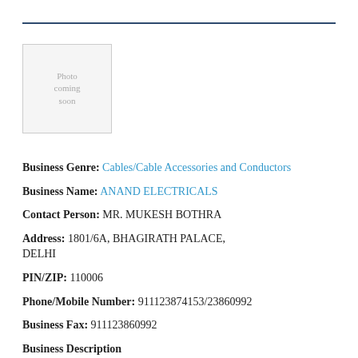[Figure (photo): Placeholder image area with text 'Photo coming soon']
Business Genre: Cables/Cable Accessories and Conductors
Business Name: ANAND ELECTRICALS
Contact Person: MR. MUKESH BOTHRA
Address: 1801/6A, BHAGIRATH PALACE, DELHI
PIN/ZIP: 110006
Phone/Mobile Number: 911123874153/23860992
Business Fax: 911123860992
Business Description